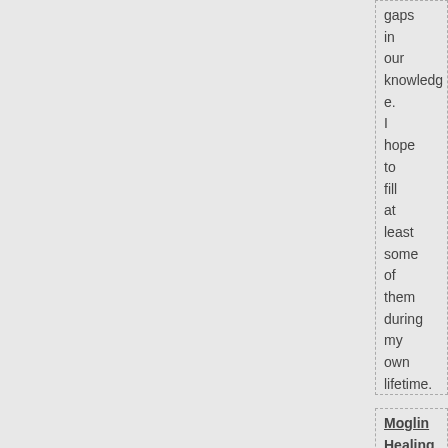gaps in our knowledge. I hope to fill at least some of them during my own lifetime.
Moglin Healing A lot of moglins